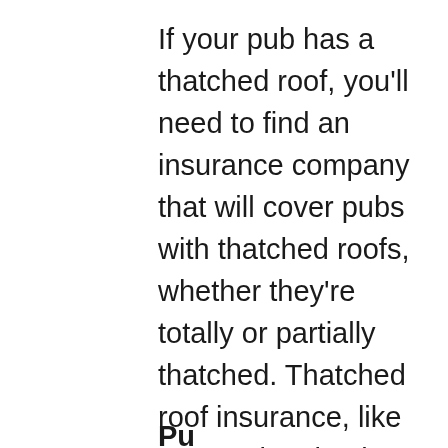If your pub has a thatched roof, you'll need to find an insurance company that will cover pubs with thatched roofs, whether they're totally or partially thatched. Thatched roof insurance, like conventional pub insurance, will protect you from storm and flood damage, as well as theft.
Pu...